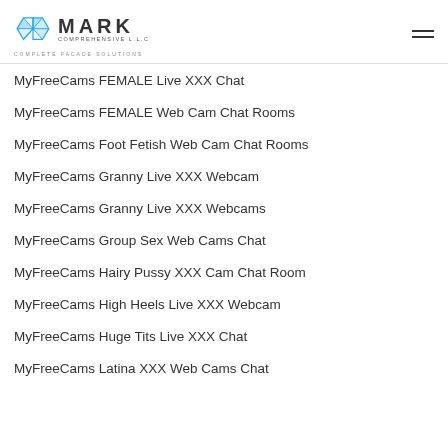Mark Comprehensive LLC — Complete Facade Solutions
MyFreeCams FEMALE Live XXX Chat
MyFreeCams FEMALE Web Cam Chat Rooms
MyFreeCams Foot Fetish Web Cam Chat Rooms
MyFreeCams Granny Live XXX Webcam
MyFreeCams Granny Live XXX Webcams
MyFreeCams Group Sex Web Cams Chat
MyFreeCams Hairy Pussy XXX Cam Chat Room
MyFreeCams High Heels Live XXX Webcam
MyFreeCams Huge Tits Live XXX Chat
MyFreeCams Latina XXX Web Cams Chat